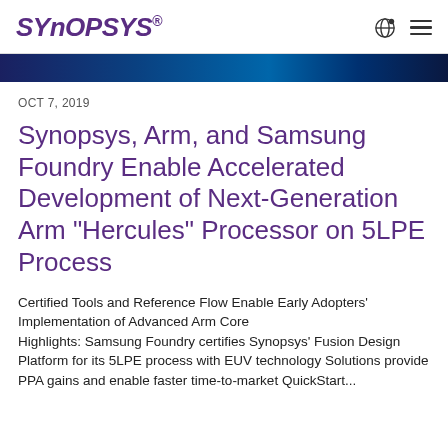SYNOPSYS®
[Figure (photo): Dark blue gradient hero banner image]
OCT 7, 2019
Synopsys, Arm, and Samsung Foundry Enable Accelerated Development of Next-Generation Arm "Hercules" Processor on 5LPE Process
Certified Tools and Reference Flow Enable Early Adopters' Implementation of Advanced Arm Core Highlights: Samsung Foundry certifies Synopsys' Fusion Design Platform for its 5LPE process with EUV technology Solutions provide PPA gains and enable faster time-to-market QuickStart...